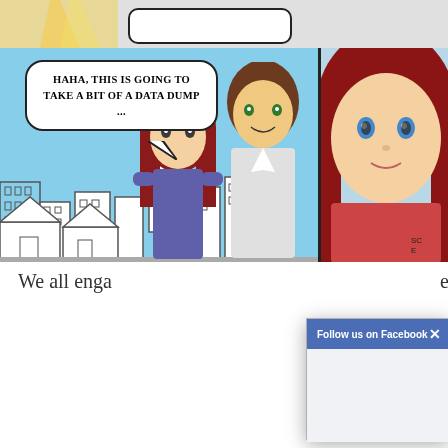[Figure (illustration): A webcomic screenshot showing two panels. Left panel: a male and female anime-style character standing in front of a city skyline (blue sky, San Francisco-like buildings). A speech bubble reads 'HAHA, THIS IS GOING TO TAKE A BIT OF A DATA DUMP ...'. Right panel: a close-up of a red-haired female anime character with blue eyes. Below the comic, partially visible text reads 'We all enga'. A Facebook modal dialog overlays the lower-right portion of the page, with header 'Follow us on Facebook' and an X close button, and a gray/white body area.]
We all enga
[Figure (screenshot): Facebook 'Follow us on Facebook' modal dialog box overlaying the page, with blue header bar, X close button, and gray/white content area below.]